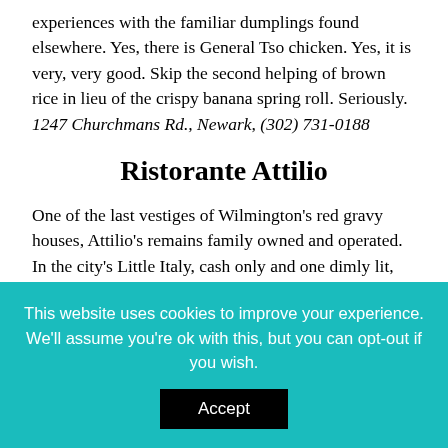experiences with the familiar dumplings found elsewhere. Yes, there is General Tso chicken. Yes, it is very, very good. Skip the second helping of brown rice in lieu of the crispy banana spring roll. Seriously. 1247 Churchmans Rd., Newark, (302) 731-0188
Ristorante Attilio
One of the last vestiges of Wilmington's red gravy houses, Attilio's remains family owned and operated. In the city's Little Italy, cash only and one dimly lit, dark paneled dining room tell the story. Fried smelts. Garlic greens. Ravioli. Lasagna 'very special' (the only descriptor on the menu!) Green beans and potatoes. It is the place that lingers in the form of garlic seeping from every pore the next day, and pleasantly so. 1900 Lancaster Ave., Wilmington, (302)
This website uses cookies to improve your experience. We'll assume you're ok with this, but you can opt-out if you wish. Accept